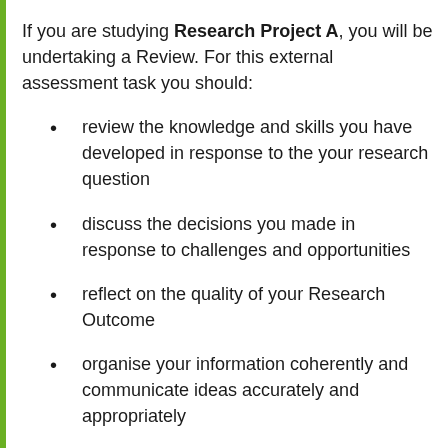If you are studying Research Project A, you will be undertaking a Review. For this external assessment task you should:
review the knowledge and skills you have developed in response to the your research question
discuss the decisions you made in response to challenges and opportunities
reflect on the quality of your Research Outcome
organise your information coherently and communicate ideas accurately and appropriately